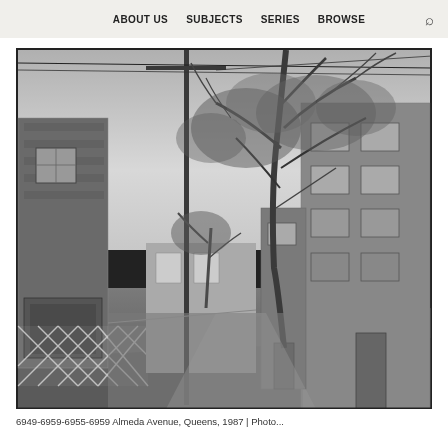ABOUT US   SUBJECTS   SERIES   BROWSE
[Figure (photo): Black and white photograph of a vacant lot between residential buildings in Queens, 1987. A telephone pole stands in the foreground, and large bare trees are visible behind. Houses flank both sides of the empty lot. A lattice fence is visible on the left side.]
6949-6959-6955-6959 Almeda Avenue, Queens, 1987 | Photo...